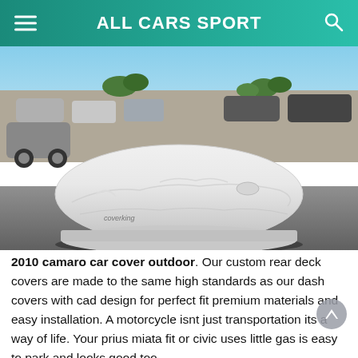ALL CARS SPORT
[Figure (photo): A car covered with a white Coverking car cover parked in an outdoor parking lot. Other vehicles are visible in the background.]
2010 camaro car cover outdoor. Our custom rear deck covers are made to the same high standards as our dash covers with cad design for perfect fit premium materials and easy installation. A motorcycle isnt just transportation its a way of life. Your prius miata fit or civic uses little gas is easy to park and looks good too.